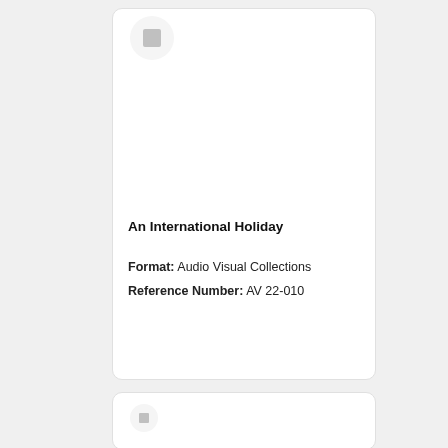[Figure (other): Thumbnail placeholder image with grey square icon on white circular background]
An International Holiday
Format: Audio Visual Collections
Reference Number: AV 22-010